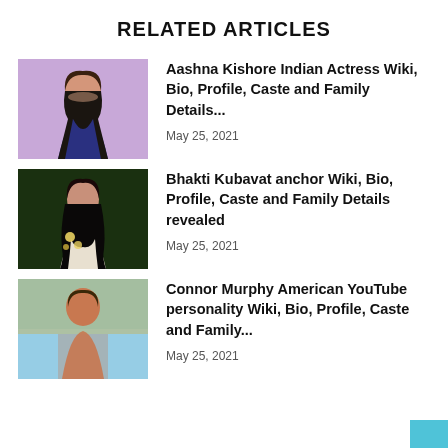RELATED ARTICLES
[Figure (photo): Photo of Aashna Kishore Indian actress]
Aashna Kishore Indian Actress Wiki, Bio, Profile, Caste and Family Details...
May 25, 2021
[Figure (photo): Photo of Bhakti Kubavat anchor]
Bhakti Kubavat anchor Wiki, Bio, Profile, Caste and Family Details revealed
May 25, 2021
[Figure (photo): Photo of Connor Murphy American YouTube personality]
Connor Murphy American YouTube personality Wiki, Bio, Profile, Caste and Family...
May 25, 2021